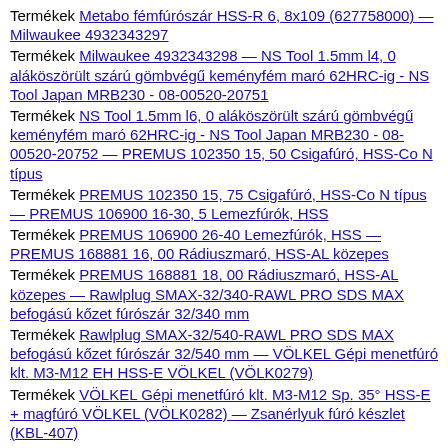Termékek Metabo fémfúrószár HSS-R 6, 8x109 (627758000) — Milwaukee 4932343297
Termékek Milwaukee 4932343298 — NS Tool 1.5mm l4, 0 aláköszörült szárú gömbvégű keményfém maró 62HRC-ig - NS Tool Japan MRB230 - 08-00520-20751
Termékek NS Tool 1.5mm l6, 0 aláköszörült szárú gömbvégű keményfém maró 62HRC-ig - NS Tool Japan MRB230 - 08-00520-20752 — PREMUS 102350 15, 50 Csigafúró, HSS-Co N típus
Termékek PREMUS 102350 15, 75 Csigafúró, HSS-Co N típus — PREMUS 106900 16-30, 5 Lemezfúrók, HSS
Termékek PREMUS 106900 26-40 Lemezfúrók, HSS — PREMUS 168881 16, 00 Rádiuszmaró, HSS-AL közepes
Termékek PREMUS 168881 18, 00 Rádiuszmaró, HSS-AL közepes — Rawlplug SMAX-32/340-RAWL PRO SDS MAX befogású kőzet fúrószár 32/340 mm
Termékek Rawlplug SMAX-32/540-RAWL PRO SDS MAX befogású kőzet fúrószár 32/540 mm — VÖLKEL Gépi menetfúró klt. M3-M12 EH HSS-E VÖLKEL (VÖLK0279)
Termékek VÖLKEL Gépi menetfúró klt. M3-M12 Sp. 35° HSS-E + magfúró VÖLKEL (VÖLK0282) — Zsanérlyuk fúró készlet (KBL-407)
Arckrém
Termékek +1 cbd arckrém 50 g - herbalnet — Eucerin 1 -